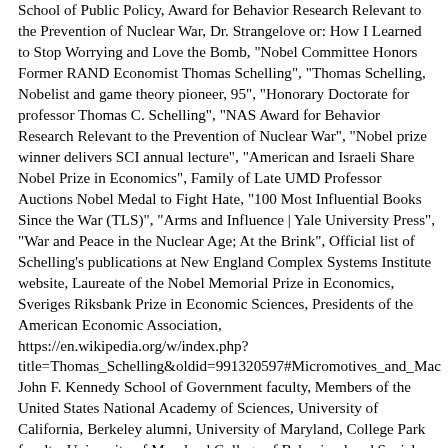School of Public Policy, Award for Behavior Research Relevant to the Prevention of Nuclear War, Dr. Strangelove or: How I Learned to Stop Worrying and Love the Bomb, "Nobel Committee Honors Former RAND Economist Thomas Schelling", "Thomas Schelling, Nobelist and game theory pioneer, 95", "Honorary Doctorate for professor Thomas C. Schelling", "NAS Award for Behavior Research Relevant to the Prevention of Nuclear War", "Nobel prize winner delivers SCI annual lecture", "American and Israeli Share Nobel Prize in Economics", Family of Late UMD Professor Auctions Nobel Medal to Fight Hate, "100 Most Influential Books Since the War (TLS)", "Arms and Influence | Yale University Press", "War and Peace in the Nuclear Age; At the Brink", Official list of Schelling's publications at New England Complex Systems Institute website, Laureate of the Nobel Memorial Prize in Economics, Sveriges Riksbank Prize in Economic Sciences, Presidents of the American Economic Association, https://en.wikipedia.org/w/index.php?title=Thomas_Schelling&oldid=991320597#Micromotives_and_Mac John F. Kennedy School of Government faculty, Members of the United States National Academy of Sciences, University of California, Berkeley alumni, University of Maryland, College Park faculty, University of Maryland College of Behavioral and Social Sciences people, 20th-century American non-fiction writers, 21st-century American non-fiction writers, Fellows of the American Academy of Arts and Sciences, Distinguished Fellows of the American Economic Association, Short description is different